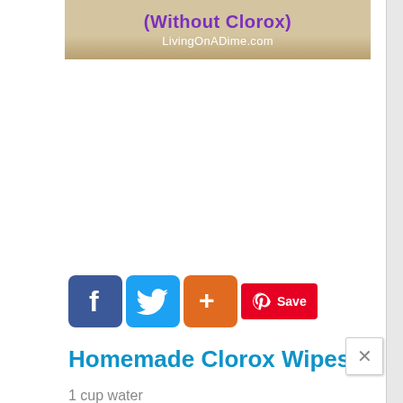[Figure (illustration): Banner image showing text '(Without Clorox)' in purple bold font and 'LivingOnADime.com' in white on a tan/beige background]
[Figure (infographic): Social share buttons row: Facebook (blue), Twitter (light blue), Google+ (orange), and Pinterest Save (red) buttons]
Homemade Clorox Wipes
1 cup water